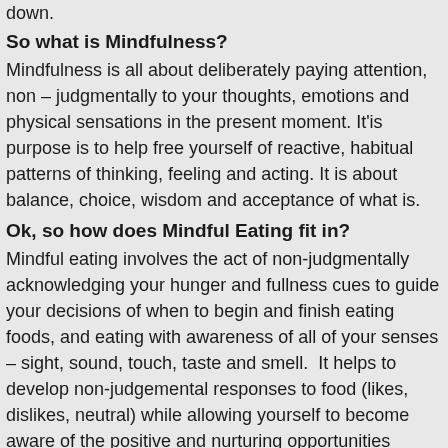down.
So what is Mindfulness?
Mindfulness is all about deliberately paying attention, non – judgmentally to your thoughts, emotions and physical sensations in the present moment. It'is purpose is to help free yourself of reactive, habitual patterns of thinking, feeling and acting. It is about balance, choice, wisdom and acceptance of what is.
Ok, so how does Mindful Eating fit in?
Mindful eating involves the act of non-judgmentally acknowledging your hunger and fullness cues to guide your decisions of when to begin and finish eating foods, and eating with awareness of all of your senses – sight, sound, touch, taste and smell. It helps to develop non-judgemental responses to food (likes, dislikes, neutral) while allowing yourself to become aware of the positive and nurturing opportunities available through food selection and preparation. It is a tool to learn which foods will best satisfy your hunger.
Why is it not for weight loss?